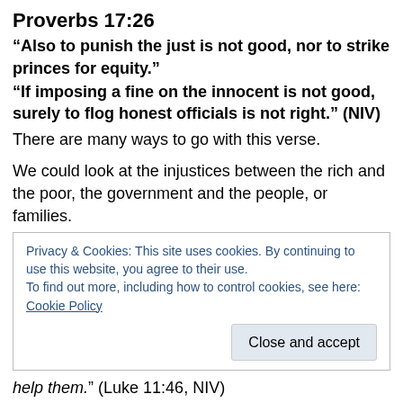Proverbs 17:26
“Also to punish the just is not good, nor to strike princes for equity.”
“If imposing a fine on the innocent is not good, surely to flog honest officials is not right.” (NIV)
There are many ways to go with this verse.
We could look at the injustices between the rich and the poor, the government and the people, or families.
Here is another track:
Privacy & Cookies: This site uses cookies. By continuing to use this website, you agree to their use.
To find out more, including how to control cookies, see here: Cookie Policy
help them.” (Luke 11:46, NIV)